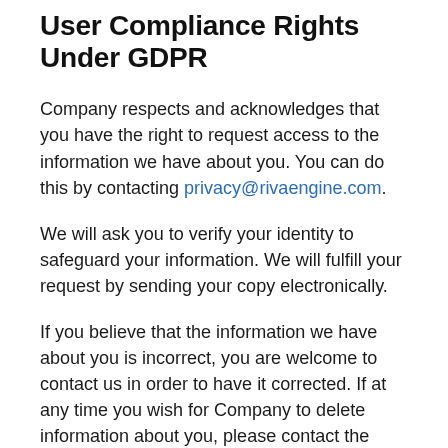User Compliance Rights Under GDPR
Company respects and acknowledges that you have the right to request access to the information we have about you. You can do this by contacting privacy@rivaengine.com.
We will ask you to verify your identity to safeguard your information. We will fulfill your request by sending your copy electronically.
If you believe that the information we have about you is incorrect, you are welcome to contact us in order to have it corrected. If at any time you wish for Company to delete information about you, please contact the aforementioned e-mail.